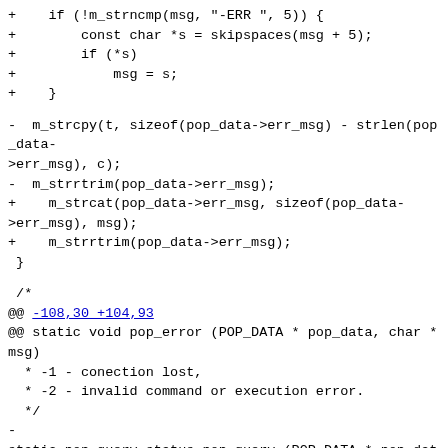+    if (!m_strncmp(msg, "-ERR ", 5)) {
+        const char *s = skipspaces(msg + 5);
+        if (*s)
+            msg = s;
+    }
-  m_strcpy(t, sizeof(pop_data->err_msg) - strlen(pop_data->err_msg), c);
-  m_strrtrim(pop_data->err_msg);
+    m_strcat(pop_data->err_msg, sizeof(pop_data->err_msg), msg);
+    m_strrtrim(pop_data->err_msg);
 }
/*
@@ -108,30 +104,93
@@ static void pop_error (POP_DATA * pop_data, char *msg)
  * -1 - conection lost,
  * -2 - invalid command or execution error.
 */
-
static pop_query_status pop_query (POP_DATA * pop_data, char *bu
+static pop_query_status pop_query(pop_data_t *pop_data, char *bu
 {
-  char *c;